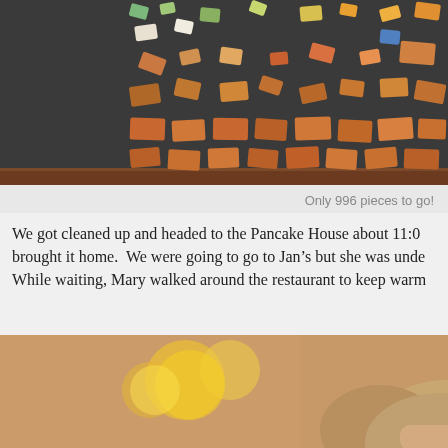[Figure (photo): Jigsaw puzzle pieces scattered on a dark surface, seen from above, with a wooden table edge visible at the bottom.]
Only 996 pieces to go!
We got cleaned up and headed to the Pancake House about 11:0... brought it home. We were going to go to Jan’s but she was unde... While waiting, Mary walked around the restaurant to keep warm...
[Figure (photo): A person with blonde hair pulled up, photographed from behind, in a warmly lit restaurant setting with blurred yellow lights in the background.]